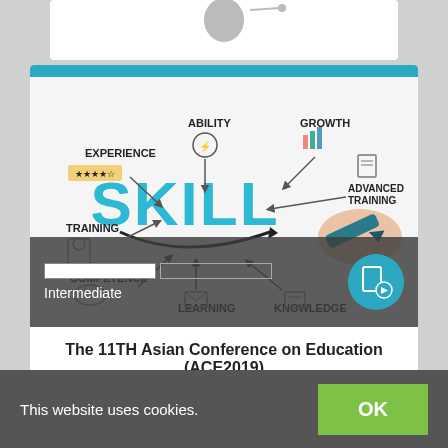[Figure (illustration): Top partial card with white background and partial icons visible at top.]
[Figure (illustration): Skill mind-map illustration showing SKILL in large teal letters in the center with arrows pointing to: EXPERIENCE, ABILITY, GROWTH, ADVANCED TRAINING, KNOWLEDGE, LEARNING, COMPETENCE, TRAINING. A hand holding a marker is drawing on the right side. Below is an overlay bar with a progress indicator and 'Intermediate' label, and a teal circle icon on the right.]
The 11TH Asian Conference on Education (ACE2019)
This website uses cookies.